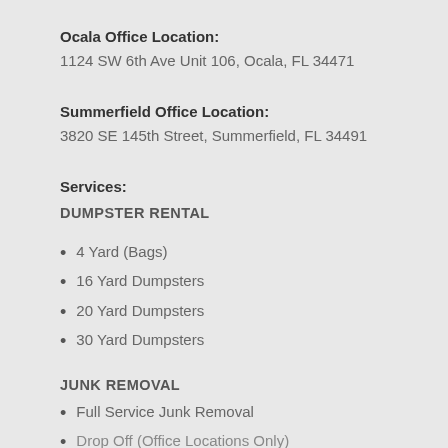Ocala Office Location:
1124 SW 6th Ave Unit 106, Ocala, FL 34471
Summerfield Office Location:
3820 SE 145th Street, Summerfield, FL 34491
Services:
DUMPSTER RENTAL
4 Yard (Bags)
16 Yard Dumpsters
20 Yard Dumpsters
30 Yard Dumpsters
JUNK REMOVAL
Full Service Junk Removal
Drop Off (Office Locations Only)